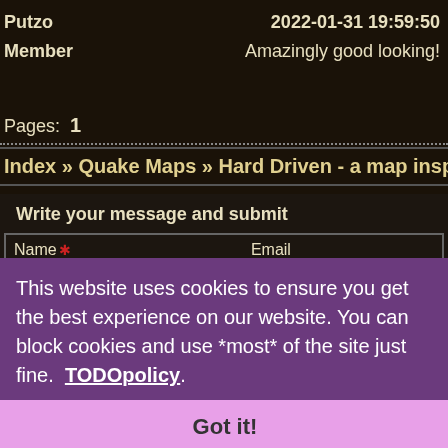Putzo    2022-01-31 19:59:50
Member    Amazingly good looking!
Pages:  1
Index » Quake Maps » Hard Driven - a map inspired by an
Write your message and submit
Name *    Email
This website uses cookies to ensure you get the best experience on our website. You can block cookies and use *most* of the site just fine.  TODOpolicy
Got it!
BBCode: on    [url] tag: on    [img] tag: on    Smilies: